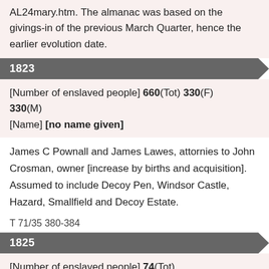AL24mary.htm. The almanac was based on the givings-in of the previous March Quarter, hence the earlier evolution date.
1823
[Number of enslaved people] 660(Tot) 330(F) 330(M)
[Name] [no name given]
James C Pownall and James Lawes, attornies to John Crosman, owner [increase by births and acquisition]. Assumed to include Decoy Pen, Windsor Castle, Hazard, Smallfield and Decoy Estate.
T 71/35 380-384
1825
[Number of enslaved people] 74(Tot)
[Name] Smailfield